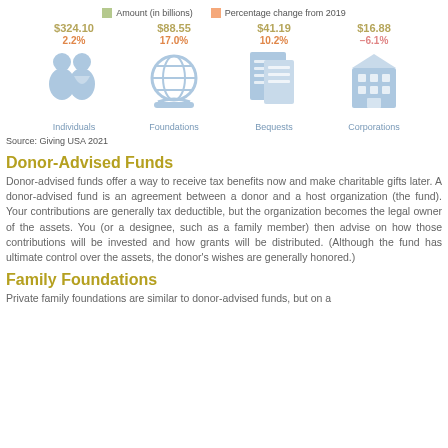[Figure (infographic): Four donor category icons (Individuals, Foundations, Bequests, Corporations) with amounts in billions and percentage change from 2019. Legend shows green for Amount (in billions) and orange for Percentage change from 2019. Individuals: $324.10, 2.2%; Foundations: $88.55, 17.0%; Bequests: $41.19, 10.2%; Corporations: $16.88, -6.1%.]
Source: Giving USA 2021
Donor-Advised Funds
Donor-advised funds offer a way to receive tax benefits now and make charitable gifts later. A donor-advised fund is an agreement between a donor and a host organization (the fund). Your contributions are generally tax deductible, but the organization becomes the legal owner of the assets. You (or a designee, such as a family member) then advise on how those contributions will be invested and how grants will be distributed. (Although the fund has ultimate control over the assets, the donor's wishes are generally honored.)
Family Foundations
Private family foundations are similar to donor-advised funds, but on a